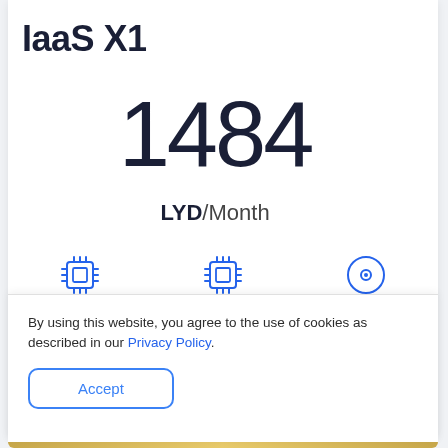IaaS X1
1484
LYD/Month
16 vCPU
64 GB RAM
1 TB SSD Tier 4
By using this website, you agree to the use of cookies as described in our Privacy Policy.
Accept